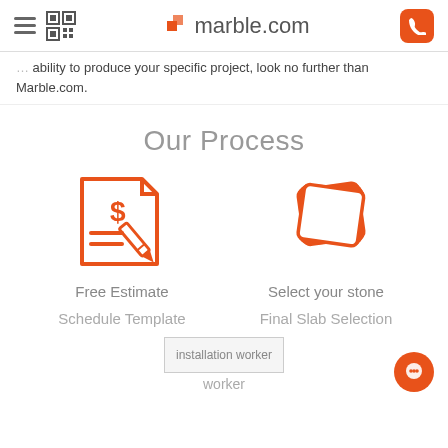marble.com
ability to produce your specific project, look no further than Marble.com.
Our Process
[Figure (illustration): Orange icon of a document with a dollar sign and a pencil, representing a Free Estimate]
Free Estimate
[Figure (illustration): Orange icon of stacked stone slabs, representing Select your stone]
Select your stone
Schedule Template
Final Slab Selection
[Figure (photo): installation worker image placeholder]